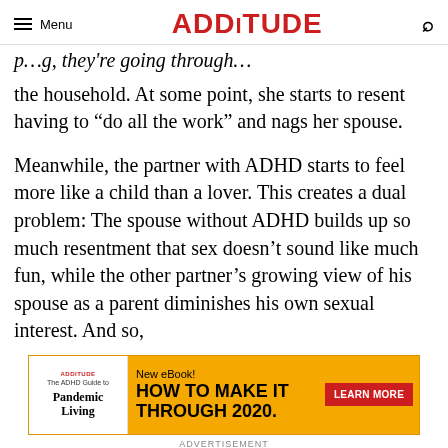Menu | ADDITUDE
the household. At some point, she starts to resent having to “do all the work” and nags her spouse.
Meanwhile, the partner with ADHD starts to feel more like a child than a lover. This creates a dual problem: The spouse without ADHD builds up so much resentment that sex doesn’t sound like much fun, while the other partner’s growing view of his spouse as a parent diminishes his own sexual interest. And so,
[Figure (infographic): Advertisement banner for ADDitude eBook 'The ADHD Guide to Pandemic Living - How to Make It Through 2020' with a Learn More button]
ADVERTISEMENT